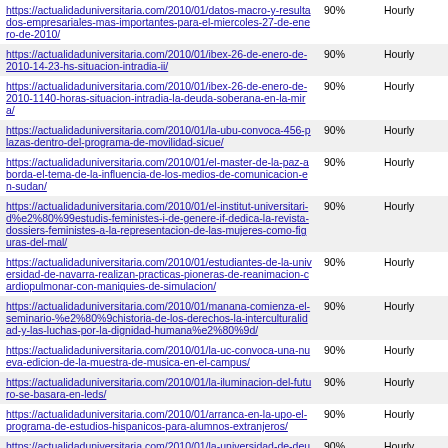| URL | Priority | Change Frequency |
| --- | --- | --- |
| https://actualidaduniversitaria.com/2010/01/datos-macro-y-resultados-empresariales-mas-importantes-para-el-miercoles-27-de-enero-de-2010/ | 90% | Hourly |
| https://actualidaduniversitaria.com/2010/01/ibex-26-de-enero-de-2010-14-23-hs-situacion-intradia-ii/ | 90% | Hourly |
| https://actualidaduniversitaria.com/2010/01/ibex-26-de-enero-de-2010-1140-horas-situacion-intradia-la-deuda-soberana-en-la-mira/ | 90% | Hourly |
| https://actualidaduniversitaria.com/2010/01/la-ubu-convoca-456-plazas-dentro-del-programa-de-movilidad-sicue/ | 90% | Hourly |
| https://actualidaduniversitaria.com/2010/01/el-master-de-la-paz-aborda-el-tema-de-la-influencia-de-los-medios-de-comunicacion-en-sudan/ | 90% | Hourly |
| https://actualidaduniversitaria.com/2010/01/el-institut-universitari-d%e2%80%99estudis-feministes-i-de-genere-if-dedica-la-revista-dossiers-feministes-a-la-representacion-de-las-mujeres-como-figuras-del-mal/ | 90% | Hourly |
| https://actualidaduniversitaria.com/2010/01/estudiantes-de-la-universidad-de-navarra-realizan-practicas-pioneras-de-reanimacion-cardiopulmonar-con-maniquies-de-simulacion/ | 90% | Hourly |
| https://actualidaduniversitaria.com/2010/01/manana-comienza-el-seminario-%e2%80%9chistoria-de-los-derechos-la-interculturalidad-y-las-luchas-por-la-dignidad-humana%e2%80%9d/ | 90% | Hourly |
| https://actualidaduniversitaria.com/2010/01/la-uc-convoca-una-nueva-edicion-de-la-muestra-de-musica-en-el-campus/ | 90% | Hourly |
| https://actualidaduniversitaria.com/2010/01/la-iluminacion-del-futuro-se-basara-en-leds/ | 90% | Hourly |
| https://actualidaduniversitaria.com/2010/01/arranca-en-la-upo-el-programa-de-estudios-hispanicos-para-alumnos-extranjeros/ | 90% | Hourly |
| https://actualidaduniversitaria.com/2010/01/la-universidad-de-deusto-celebra-los-actos-de-investidura-de-sus-nuevos-licenciados-y-doctores/ | 90% | Hourly |